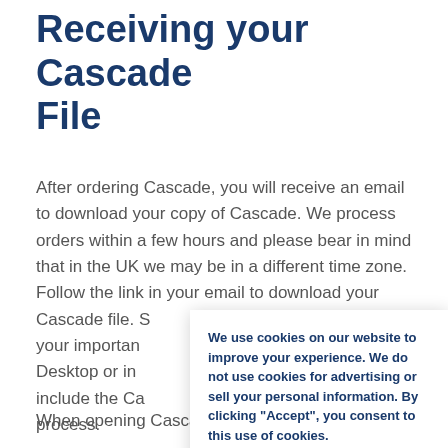Receiving your Cascade File
After ordering Cascade, you will receive an email to download your copy of Cascade. We process orders within a few hours and please bear in mind that in the UK we may be in a different time zone.
Follow the link in your email to download your Cascade file. S[ave it somewhere safe with your important... Desktop or in... include the Ca[scade... process.
[Figure (screenshot): Cookie consent banner overlay with text: 'We use cookies on our website to improve your experience. We do not use cookies for advertising or sell your personal information. By clicking "Accept", you consent to this use of cookies.' with Read More, Accept, and Reject buttons.]
When opening Cascade, check that Macros are